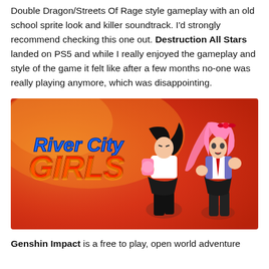Double Dragon/Streets Of Rage style gameplay with an old school sprite look and killer soundtrack. I'd strongly recommend checking this one out. Destruction All Stars landed on PS5 and while I really enjoyed the gameplay and style of the game it felt like after a few months no-one was really playing anymore, which was disappointing.
[Figure (illustration): River City Girls promotional image with logo on left side showing anime-style characters (two girls in fighting stances) against a red/orange gradient background]
Genshin Impact is a free to play, open world adventure